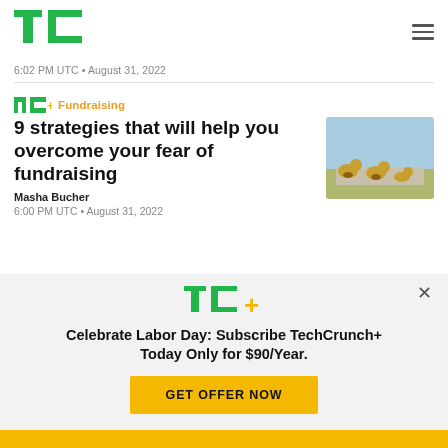TechCrunch logo and navigation
6:02 PM UTC • August 31, 2022
TC+ Fundraising
9 strategies that will help you overcome your fear of fundraising
[Figure (photo): Three ducklings on a stone surface near water]
Masha Bucher
6:00 PM UTC • August 31, 2022
[Figure (infographic): TechCrunch+ promotional banner: Celebrate Labor Day: Subscribe TechCrunch+ Today Only for $90/Year. GET OFFER NOW button.]